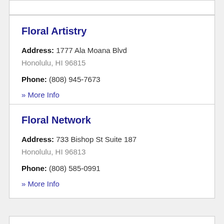Floral Artistry
Address: 1777 Ala Moana Blvd
Honolulu, HI 96815
Phone: (808) 945-7673
» More Info
Floral Network
Address: 733 Bishop St Suite 187
Honolulu, HI 96813
Phone: (808) 585-0991
» More Info